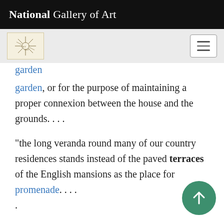National Gallery of Art
garden, or for the purpose of maintaining a proper connexion between the house and the grounds. . . .
"the long veranda round many of our country residences stands instead of the paved terraces of the English mansions as the place for promenade. . . . .
"In our finest places, or those country seats where much of the polish of pleasure ground or park scenery is kept up, one of the most striking d... is the want of 'union between the house and th... grounds.'